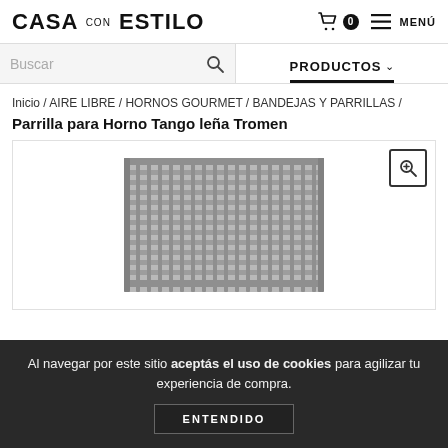CASA con ESTILO
Buscar | PRODUCTOS
Inicio / AIRE LIBRE / HORNOS GOURMET / BANDEJAS Y PARRILLAS /
Parrilla para Horno Tango leña Tromen
[Figure (photo): Metal grill rack/parrilla for Tango wood oven by Tromen, showing a rectangular grid of metal bars]
Al navegar por este sitio aceptás el uso de cookies para agilizar tu experiencia de compra. ENTENDIDO